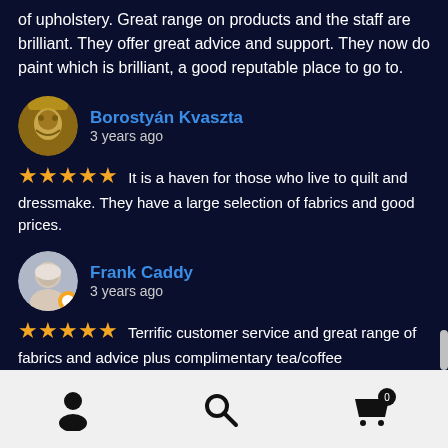of upholstery. Great range on products and the staff are brilliant. They offer great advice and support. They now do paint which is brilliant, a good reputable place to go to.
Borostyán Kvaszta
3 years ago
★★★★★ It is a haven for those who live to quilt and dressmake. They have a large selection of fabrics and good prices.
Frank Caddy
3 years ago
★★★★★ Terrific customer service and great range of fabrics and advice plus complimentary tea/coffee
TigJoeLiv NAGA
3 years ago
★★★★★ This place has all your haberdashery needs. Perfect from fabric to needles..strings and elastics...A++